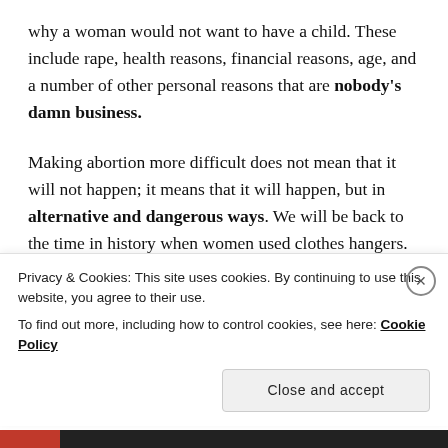why a woman would not want to have a child. These include rape, health reasons, financial reasons, age, and a number of other personal reasons that are nobody's damn business.
Making abortion more difficult does not mean that it will not happen; it means that it will happen, but in alternative and dangerous ways. We will be back to the time in history when women used clothes hangers. Yea, it's as unsettling as it sounds.
If abortion is not a widely available, safe and legal process, abortion-related deaths and injuries will
Privacy & Cookies: This site uses cookies. By continuing to use this website, you agree to their use.
To find out more, including how to control cookies, see here: Cookie Policy